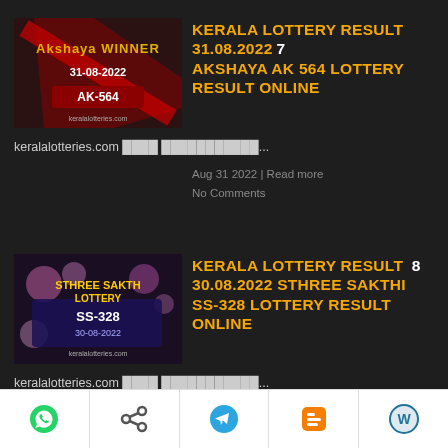[Figure (photo): Thumbnail image for Kerala Lottery Result 31.08.2022 Akshaya AK-564, showing red diagonal banner text on dark background]
KERALA LOTTERY RESULT 31.08.2022 AKSHAYA AK 564 LOTTERY RESULT ONLINE
keralalotteries.com ████ ███████████...
Aug 31 2022 | Read more
No Comments
[Figure (photo): Thumbnail image for Kerala Lottery Result 30.08.2022 Sthree Sakthi SS-328, showing lottery ticket with flowers]
KERALA LOTTERY RESULT 30.08.2022 STHREE SAKTHI SS-328 LOTTERY RESULT ONLINE
keralalotteries.com ████ ███████████...
Aug 30 2022 | Read more
No Comments
[WhatsApp] [Share] [Telegram] [Blogger] [WordPress]